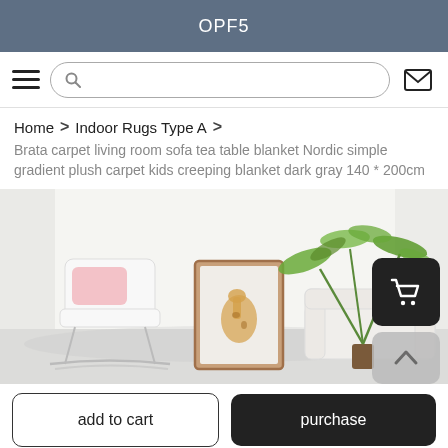OPF5
Home > Indoor Rugs Type A >
Brata carpet living room sofa tea table blanket Nordic simple gradient plush carpet kids creeping blanket dark gray 140 * 200cm
[Figure (photo): Living room scene with a white rocking chair with pink pillow, a framed giraffe artwork, a white sofa, and a tropical plant on a light gray floor with white curtains in the background.]
add to cart
purchase